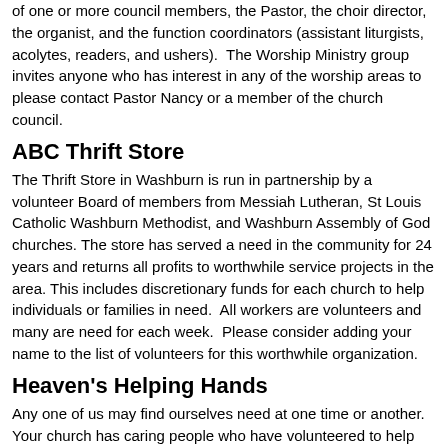of one or more council members, the Pastor, the choir director, the organist, and the function coordinators (assistant liturgists, acolytes, readers, and ushers).  The Worship Ministry group invites anyone who has interest in any of the worship areas to please contact Pastor Nancy or a member of the church council.
ABC Thrift Store
The Thrift Store in Washburn is run in partnership by a volunteer Board of members from Messiah Lutheran, St Louis Catholic Washburn Methodist, and Washburn Assembly of God churches.  The store has served a need in the community for 24 years and returns all profits to worthwhile service projects in the area.  This includes discretionary funds for each church to help individuals or families in need.  All workers are volunteers and many are need for each week.  Please consider adding your name to the list of volunteers for this worthwhile organization.
Heaven's Helping Hands
Any one of us may find ourselves need at one time or another.  Your church has caring people who have volunteered to help out with these Heaven's Helping Hands ministries:  Elder Assistance, Meal Ministry, Transportation, Home Touch Newsletters and the Member Visit...